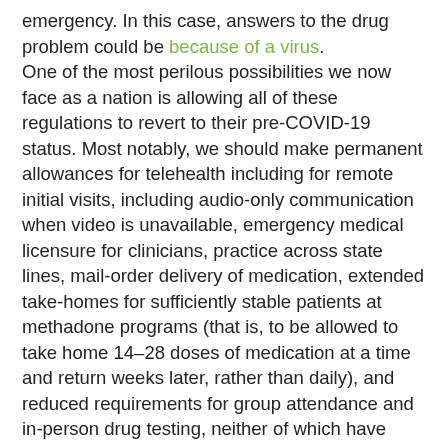emergency. In this case, answers to the drug problem could be because of a virus. One of the most perilous possibilities we now face as a nation is allowing all of these regulations to revert to their pre-COVID-19 status. Most notably, we should make permanent allowances for telehealth including for remote initial visits, including audio-only communication when video is unavailable, emergency medical licensure for clinicians, practice across state lines, mail-order delivery of medication, extended take-homes for sufficiently stable patients at methadone programs (that is, to be allowed to take home 14–28 doses of medication at a time and return weeks later, rather than daily), and reduced requirements for group attendance and in-person drug testing, neither of which have shown to reduce mortality among this population beyond medication adherence alone. Going further, we need to create new platforms for treatment. Before COVID-19, many methadone patients drove for several hours each week to attend morning clinics daily, especially in rural areas, spending more on gas than